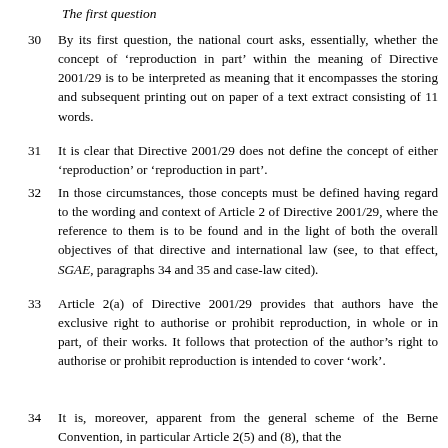The first question
30    By its first question, the national court asks, essentially, whether the concept of ‘reproduction in part’ within the meaning of Directive 2001/29 is to be interpreted as meaning that it encompasses the storing and subsequent printing out on paper of a text extract consisting of 11 words.
31    It is clear that Directive 2001/29 does not define the concept of either ‘reproduction’ or ‘reproduction in part’.
32    In those circumstances, those concepts must be defined having regard to the wording and context of Article 2 of Directive 2001/29, where the reference to them is to be found and in the light of both the overall objectives of that directive and international law (see, to that effect, SGAE, paragraphs 34 and 35 and case-law cited).
33    Article 2(a) of Directive 2001/29 provides that authors have the exclusive right to authorise or prohibit reproduction, in whole or in part, of their works. It follows that protection of the author’s right to authorise or prohibit reproduction is intended to cover ‘work’.
34    It is, moreover, apparent from the general scheme of the Berne Convention, in particular Article 2(5) and (8), that the